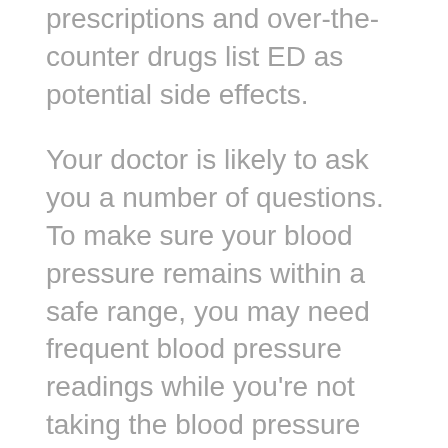prescriptions and over-the-counter drugs list ED as potential side effects.
Your doctor is likely to ask you a number of questions. To make sure your blood pressure remains within a safe range, you may need frequent blood pressure readings while you're not taking the blood pressure lowering medication that may be causing your sexual difficulties. Your best defense against health problems like this is to learn everything you can about it so you can tackle the problem at the root. If for some reason the prosthesis or parts become damaged or dislocated, surgical removal may be necessary. For some women, this leads to a decrease in sexual desire or arousal, vaginal dryness, or difficulty achieving orgasm. These drugs not only